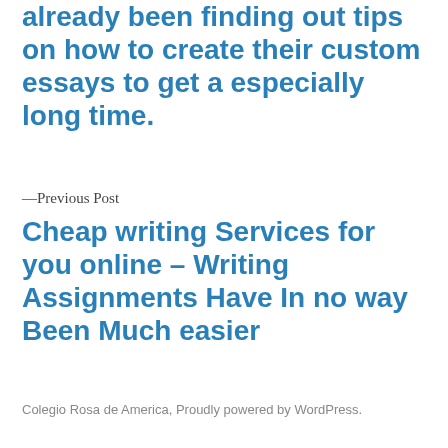already been finding out tips on how to create their custom essays to get a especially long time.
—Previous Post
Cheap writing Services for you online – Writing Assignments Have In no way Been Much easier
Colegio Rosa de America, Proudly powered by WordPress.